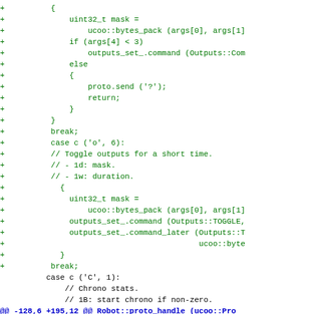[Figure (other): A code diff showing C++ source additions and context lines related to output control commands (mask, toggle, chrono stats) in a robot protocol handler]